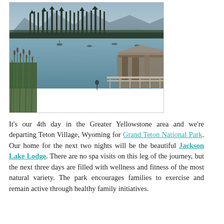[Figure (photo): Photograph of a lake scene at Grand Teton / Jackson Lake area with tall evergreen trees and mountains in the background, calm blue-grey water, boats visible on the lake, tall reeds/grasses in the foreground, and a wooden dock/railing structure on the right side.]
It’s our 4th day in the Greater Yellowstone area and we’re departing Teton Village, Wyoming for Grand Teton National Park. Our home for the next two nights will be the beautiful Jackson Lake Lodge. There are no spa visits on this leg of the journey, but the next three days are filled with wellness and fitness of the most natural variety. The park encourages families to exercise and remain active through healthy family initiatives.